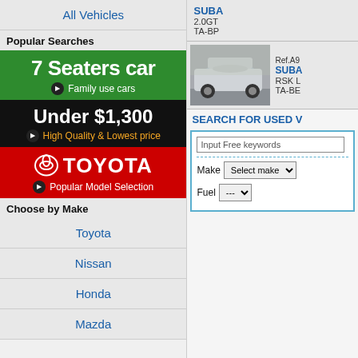All Vehicles
Popular Searches
[Figure (infographic): Green banner: 7 Seaters car, Family use cars]
[Figure (infographic): Black banner: Under $1,300, High Quality & Lowest price]
[Figure (infographic): Red Toyota banner: TOYOTA, Popular Model Selection]
Choose by Make
Toyota
Nissan
Honda
Mazda
SUBA 2.0GT TA-BP
[Figure (photo): Silver Subaru sedan photo]
Ref.A9 SUBA RSK L TA-BE
SEARCH FOR USED V
Input Free keywords
Make  Select make
Fuel  ---